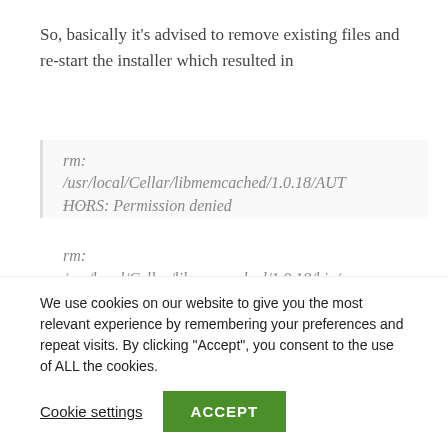So, basically it's advised to remove existing files and re-start the installer which resulted in
rm:
/usr/local/Cellar/libmemcached/1.0.18/AUTHORS: Permission denied

rm:
/usr/local/Cellar/libmemcached/1.0.18/bin/memcapable: Permission denied

.....
We use cookies on our website to give you the most relevant experience by remembering your preferences and repeat visits. By clicking "Accept", you consent to the use of ALL the cookies.
Cookie settings   ACCEPT